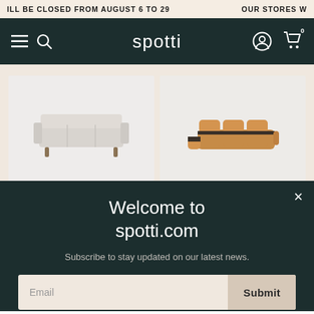ILL BE CLOSED FROM AUGUST 6 TO 29   OUR STORES W
[Figure (screenshot): Spotti furniture website navigation bar with hamburger menu, search icon, 'spotti' logo, user account icon, and shopping cart icon with 0 items]
[Figure (photo): Two product images on beige background: left shows a light grey modern three-seat sofa with wooden legs; right shows a modular brown leather sectional sofa]
Welcome to spotti.com
Subscribe to stay updated on our latest news.
Email  Submit